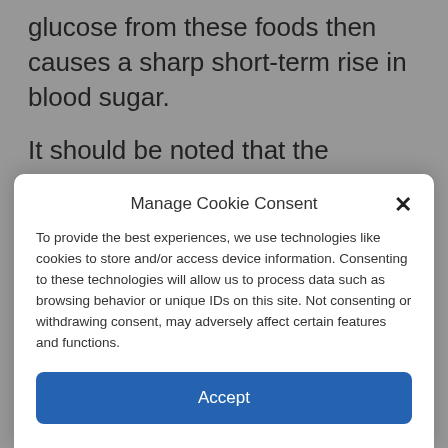glucose from these foods then causes a sharp short-term rise in blood sugar.
It should be noted that the glycaemic index is only assigned to foods containing carbohydrates, therefore the rest of the
Manage Cookie Consent
To provide the best experiences, we use technologies like cookies to store and/or access device information. Consenting to these technologies will allow us to process data such as browsing behavior or unique IDs on this site. Not consenting or withdrawing consent, may adversely affect certain features and functions.
Accept